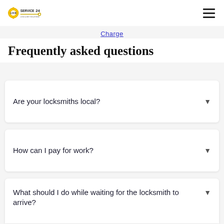LockSmith Service24 [logo] | [hamburger menu]
Charge
Frequently asked questions
Are your locksmiths local?
How can I pay for work?
What should I do while waiting for the locksmith to arrive?